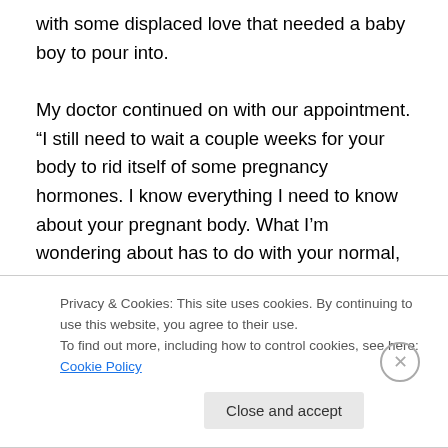with some displaced love that needed a baby boy to pour into.

My doctor continued on with our appointment. “I still need to wait a couple weeks for your body to rid itself of some pregnancy hormones. I know everything I need to know about your pregnant body. What I’m wondering about has to do with your normal, not pregnant state because pregnancy tends to exacerbate issues. So, we’ll get that labwork ordered and compare. It’s going to take at least 2 weeks for those results to come back. So, I’m going to
Privacy & Cookies: This site uses cookies. By continuing to use this website, you agree to their use.
To find out more, including how to control cookies, see here: Cookie Policy
Close and accept